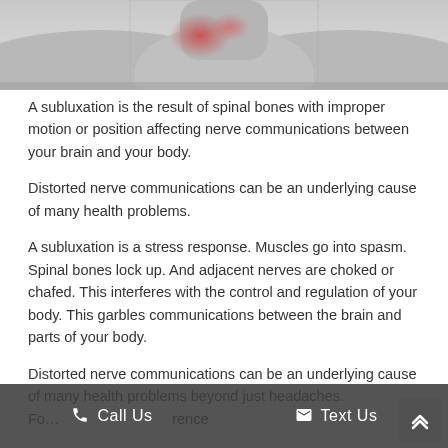[Figure (photo): Partial view of a person's neck/shoulder area with a red highlighted region indicating pain or inflammation near the spine/neck area. Black and white photo with red color accent on the neck.]
A subluxation is the result of spinal bones with improper motion or position affecting nerve communications between your brain and your body.
Distorted nerve communications can be an underlying cause of many health problems.
A subluxation is a stress response. Muscles go into spasm. Spinal bones lock up. And adjacent nerves are choked or chafed. This interferes with the control and regulation of your body. This garbles communications between the brain and parts of your body.
Distorted nerve communications can be an underlying cause of many health problems beyond just headaches. For... rence with...